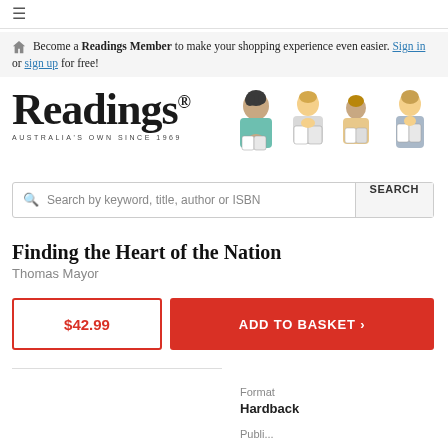≡ (hamburger menu)
Become a Readings Member to make your shopping experience even easier. Sign in or sign up for free!
[Figure (logo): Readings logo with illustrated people reading books. Text: Readings AUSTRALIA'S OWN SINCE 1969]
Search by keyword, title, author or ISBN  SEARCH
Finding the Heart of the Nation
Thomas Mayor
$42.99
ADD TO BASKET ›
Format
Hardback
Publi...